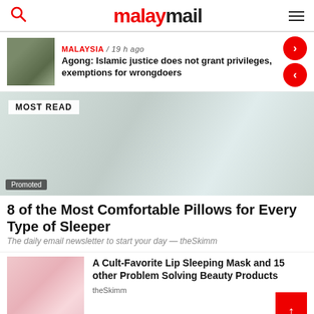malaymail
MALAYSIA / 19 h ago
Agong: Islamic justice does not grant privileges, exemptions for wrongdoers
MOST READ
[Figure (photo): Promoted pillow product image with MOST READ badge]
8 of the Most Comfortable Pillows for Every Type of Sleeper
The daily email newsletter to start your day — theSkimm
[Figure (photo): Promoted beauty product image showing lip sleeping mask]
A Cult-Favorite Lip Sleeping Mask and 15 other Problem Solving Beauty Products
theSkimm